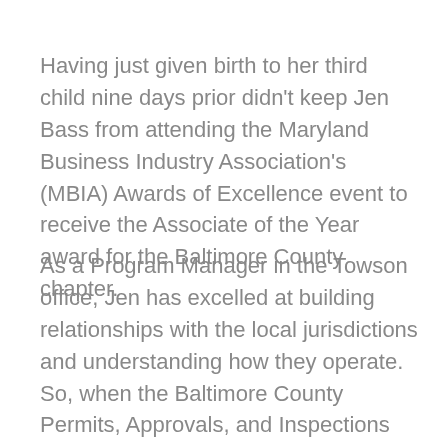Having just given birth to her third child nine days prior didn't keep Jen Bass from attending the Maryland Business Industry Association's (MBIA) Awards of Excellence event to receive the Associate of the Year award for the Baltimore County chapter.
As a Program Manager in the Towson office, Jen has excelled at building relationships with the local jurisdictions and understanding how they operate. So, when the Baltimore County Permits, Approvals, and Inspections department announced a change in leadership, Jen saw an opportunity to help the new Director improve the permitting and approval process. Jen took the initiative to set up a series of meetings with the new Director and others from MBIA. In the meetings, the group provided feedback on issues with the system, answered questions, and provided